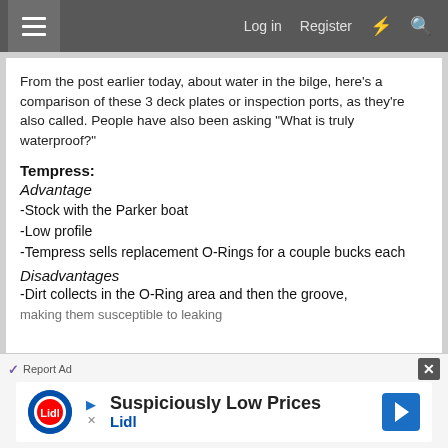≡  Log in  Register  ⚡  🔍
From the post earlier today, about water in the bilge, here's a comparison of these 3 deck plates or inspection ports, as they're also called. People have also been asking "What is truly waterproof?"
Tempress:
Advantage
-Stock with the Parker boat
-Low profile
-Tempress sells replacement O-Rings for a couple bucks each
Disadvantages
-Dirt collects in the O-Ring area and then the groove, making them susceptible to leaking
[Figure (other): Lidl advertisement banner: 'Suspiciously Low Prices' with Lidl logo and navigation arrow]